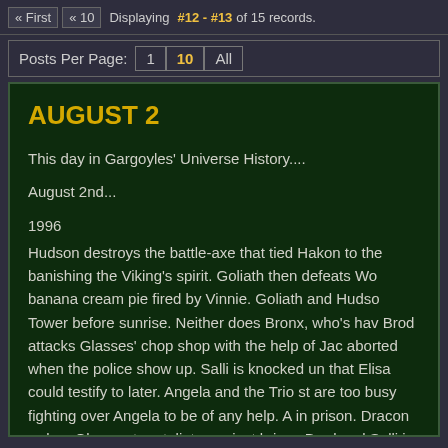« First  « 10  Displaying #12 - #13 of 15 records.
Posts Per Page:  1  10  All
AUGUST 2
This day in Gargoyles' Universe History....
August 2nd...
1996
Hudson destroys the battle-axe that tied Hakon to the banishing the Viking's spirit. Goliath then defeats Wo banana cream pie fired by Vinnie. Goliath and Hudso Tower before sunrise. Neither does Bronx, who's hav Brod attacks Glasses' chop shop with the help of Jac aborted when the police show up. Salli is knocked un that Elisa could testify to later. Angela and the Trio st are too busy fighting over Angela to be of any help. A in prison. Dracon orders Glasses to retaliate against brings Brod and Salli in for questioning. Salli slips aw reveals herself as Elisa and enlists the gargoyles' h